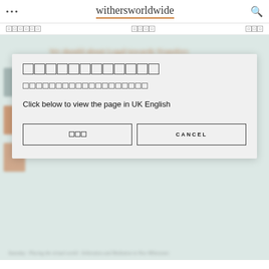withersworldwide
[navigation items with unreadable characters]
[Figure (screenshot): Language selection modal dialog overlaid on a blurred withersworldwide website page. The modal contains unreadable box characters as title and subtitle, followed by the text 'Click below to view the page in UK English', and two buttons: one with box characters and one labeled 'CANCEL'.]
Click below to view the page in UK English
CANCEL